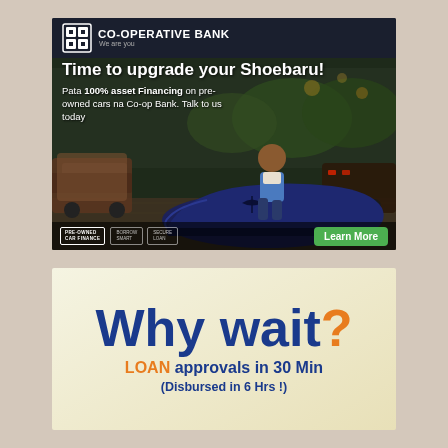[Figure (advertisement): Co-operative Bank advertisement showing a man sitting inside a giant blue loafer shoe surrounded by cars on a parking lot at night. Header shows Co-operative Bank logo and tagline 'We are you'. Text reads 'Time to upgrade your Shoebaru!' and 'Pata 100% asset Financing on pre-owned cars na Co-op Bank. Talk to us today'. Footer has Pre-Owned Car Finance badge, additional badges, and a green Learn More button.]
[Figure (advertisement): Second advertisement with cream/khaki gradient background. Large bold text 'Why wait?' in dark blue with orange question mark, followed by 'LOAN approvals in 30 Min' with LOAN in orange, and '(Disbursed in 6 Hrs !)' in dark blue.]